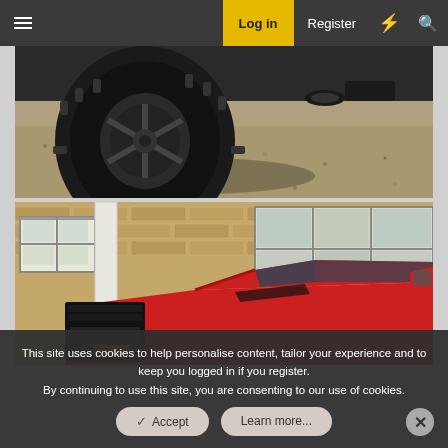≡  Log in  Register  ⚡  🔍
[Figure (photo): Close-up photo of a large black off-road tire and wheel on a vehicle, shot low from behind, with gravel/dirt surface visible in the background.]
[Figure (photo): Photo of a red pickup truck (front and side view showing headlight, hood, and side mirror) parked in front of a tan brick building with industrial windows.]
This site uses cookies to help personalise content, tailor your experience and to keep you logged in if you register.
By continuing to use this site, you are consenting to our use of cookies.
✓ Accept   Learn more...